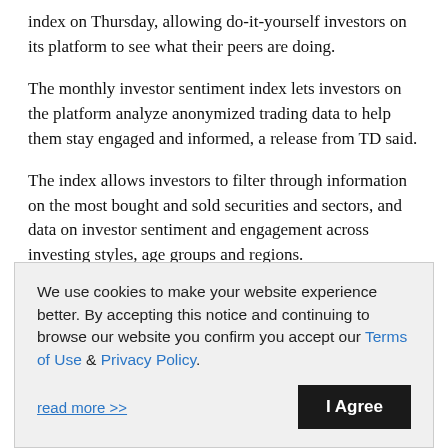index on Thursday, allowing do-it-yourself investors on its platform to see what their peers are doing.
The monthly investor sentiment index lets investors on the platform analyze anonymized trading data to help them stay engaged and informed, a release from TD said.
The index allows investors to filter through information on the most bought and sold securities and sectors, and data on investor sentiment and engagement across investing styles, age groups and regions.
It also provides a monthly sentiment score ranging from
We use cookies to make your website experience better. By accepting this notice and continuing to browse our website you confirm you accept our Terms of Use & Privacy Policy.
read more >> | I Agree